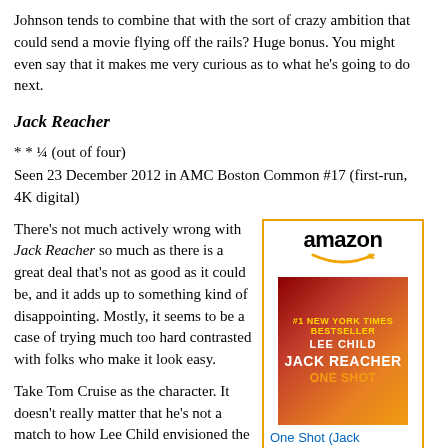Johnson tends to combine that with the sort of crazy ambition that could send a movie flying off the rails? Huge bonus. You might even say that it makes me very curious as to what he's going to do next.
Jack Reacher
* * ¼ (out of four)
Seen 23 December 2012 in AMC Boston Common #17 (first-run, 4K digital)
[Figure (other): Amazon advertisement box with orange border, showing the Amazon logo with smile, a book cover for 'Jack Reacher: One Shot' by Lee Child, a link 'One Shot (Jack Reacher)', price '$13.97', and a 'Shop now' button with Amazon icon on orange background.]
There's not much actively wrong with Jack Reacher so much as there is a great deal that's not as good as it could be, and it adds up to something kind of disappointing. Mostly, it seems to be a case of trying much too hard contrasted with folks who make it look easy.
Take Tom Cruise as the character. It doesn't really matter that he's not a match to how Lee Child envisioned the character physically at all so much as the way the message